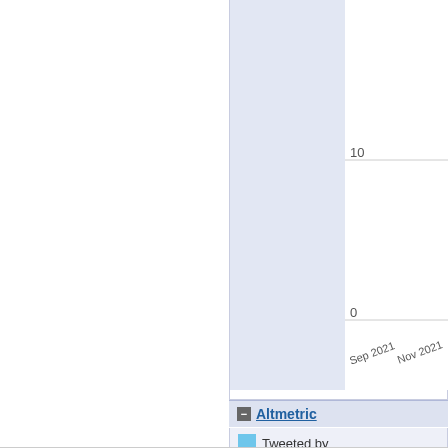[Figure (continuous-plot): Partial bar/area chart cropped at top, showing a light blue filled area over time axis with y-axis values visible: 10 at mid, 0 at bottom, with x-axis labels Sep 2021 and Nov 2021]
- Altmetric
Tweeted by
12 readers o
View details on Altmetric's website
+ Deposit Details